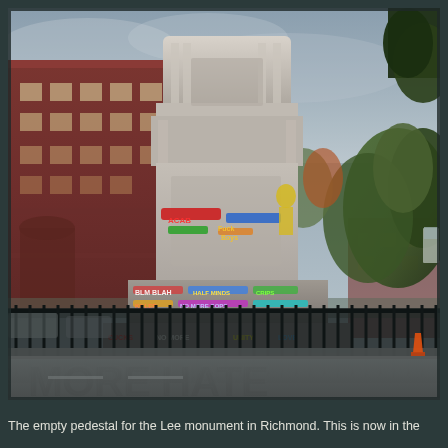[Figure (photo): Photograph of the empty pedestal for the Robert E. Lee monument in Richmond, Virginia. The large stone pedestal is covered in colorful graffiti including the words 'MORE HATE' in large black letters on a metal security fence in the foreground. The monument's statue has been removed, leaving only the ornate stone base and column. Red brick buildings are visible to the left, green trees to the right, and an overcast sky in the background. A black metal security fence surrounds the base.]
The empty pedestal for the Lee monument in Richmond. This is now in the